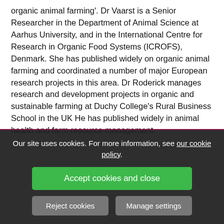organic animal farming'. Dr Vaarst is a Senior Researcher in the Department of Animal Science at Aarhus University, and in the International Centre for Research in Organic Food Systems (ICROFS), Denmark. She has published widely on organic animal farming and coordinated a number of major European research projects in this area. Dr Roderick manages research and development projects in organic and sustainable farming at Duchy College's Rural Business School in the UK He has published widely in animal health and farm resource management.
[Figure (screenshot): Cookie consent overlay on a dark semi-transparent background with text, an Accept cookies and close button (green), and Reject cookies / Manage settings buttons (grey). Behind the overlay are partially visible author photos.]